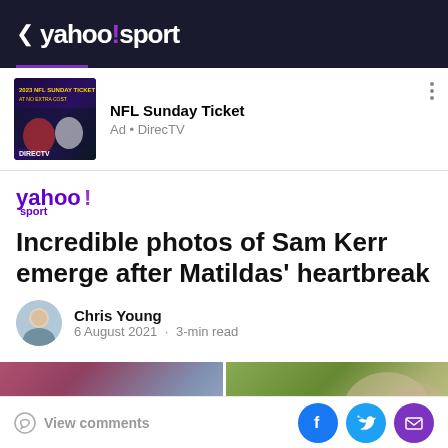< yahoo!sport
[Figure (screenshot): NFL Sunday Ticket advertisement with DirecTV branding showing football players on dark background]
NFL Sunday Ticket
Ad • DirecTV
[Figure (logo): Yahoo! Sport logo in purple]
Incredible photos of Sam Kerr emerge after Matildas' heartbreak
Chris Young
6 August 2021  ·  3-min read
[Figure (photo): Two side-by-side photos related to Sam Kerr and the Matildas]
View comments